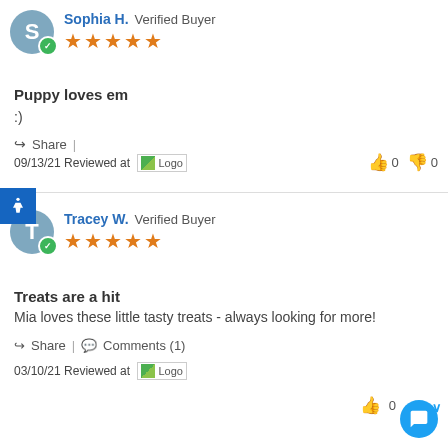Sophia H. Verified Buyer ★★★★★
Puppy loves em
:)
Share | 09/13/21 Reviewed at Logo
👍 0  👎 0
Tracey W. Verified Buyer ★★★★★
Treats are a hit
Mia loves these little tasty treats - always looking for more!
Share | Comments (1) 03/10/21 Reviewed at Logo